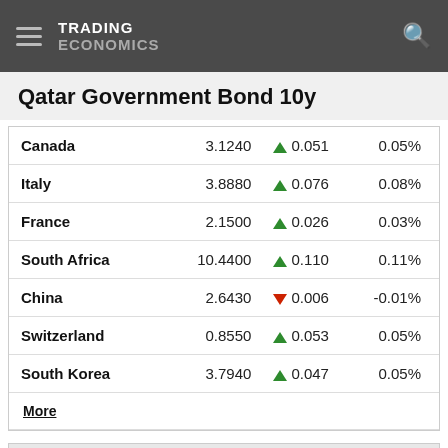TRADING ECONOMICS
Qatar Government Bond 10y
| Country | Value | Change | Change% |
| --- | --- | --- | --- |
| Canada | 3.1240 | ▲ 0.051 | 0.05% |
| Italy | 3.8880 | ▲ 0.076 | 0.08% |
| France | 2.1500 | ▲ 0.026 | 0.03% |
| South Africa | 10.4400 | ▲ 0.110 | 0.11% |
| China | 2.6430 | ▼ 0.006 | -0.01% |
| Switzerland | 0.8550 | ▲ 0.053 | 0.05% |
| South Korea | 3.7940 | ▲ 0.047 | 0.05% |
More
News
China Stocks Rise Despite Data Miss
Hong Kong Stocks Slip 1% to Start Sep